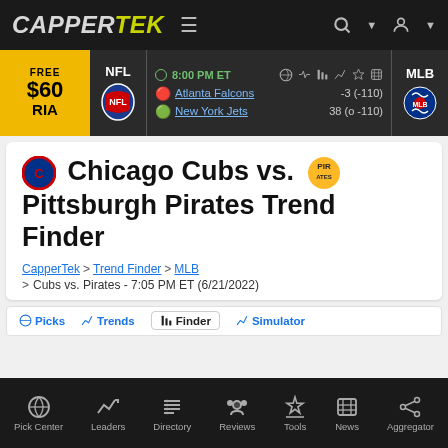CAPPERTEK
[Figure (screenshot): NFL betting strip showing Atlanta Falcons vs New York Jets game at 8:00 PM ET with odds -3 (-110) and 38 (o -110), plus FREE $60 RIA promo and MLB logo]
Chicago Cubs vs. Pittsburgh Pirates Trend Finder
CapperTek > Trend Finder > MLB
> Cubs vs. Pirates - 7:05 PM ET (6/21/2022)
[Figure (screenshot): Partial tab bar showing Picks, Trends, Finder, Simulator tabs]
Pick Center | Leaders | Directory | Reviews | Tools | News | Aggregator